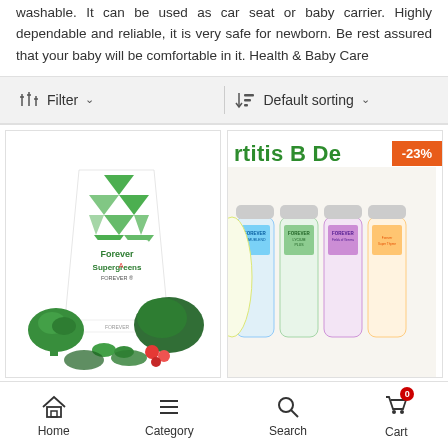washable. It can be used as car seat or baby carrier. Highly dependable and reliable, it is very safe for newborn. Be rest assured that your baby will be comfortable in it. Health & Baby Care
Filter   Default sorting
[Figure (photo): Product image of Forever Supergreens package with vegetables including broccoli, kale, and berries]
[Figure (photo): Product image showing supplement bottles with -23% discount badge and partially visible text 'rtitis B De']